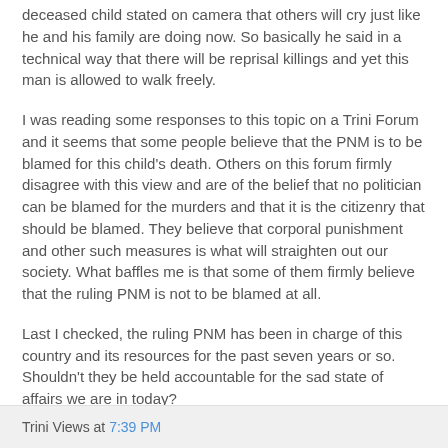deceased child stated on camera that others will cry just like he and his family are doing now. So basically he said in a technical way that there will be reprisal killings and yet this man is allowed to walk freely.
I was reading some responses to this topic on a Trini Forum and it seems that some people believe that the PNM is to be blamed for this child's death. Others on this forum firmly disagree with this view and are of the belief that no politician can be blamed for the murders and that it is the citizenry that should be blamed. They believe that corporal punishment and other such measures is what will straighten out our society. What baffles me is that some of them firmly believe that the ruling PNM is not to be blamed at all.
Last I checked, the ruling PNM has been in charge of this country and its resources for the past seven years or so. Shouldn't they be held accountable for the sad state of affairs we are in today?
Trini Views at 7:39 PM